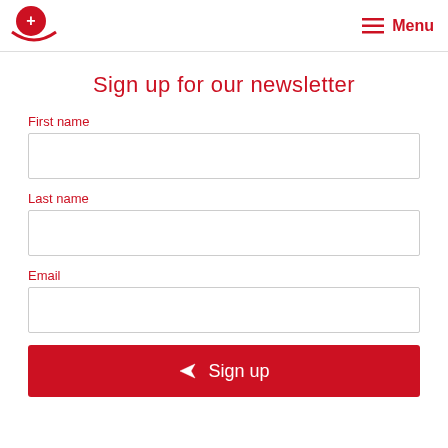Menu
Sign up for our newsletter
First name
Last name
Email
Sign up